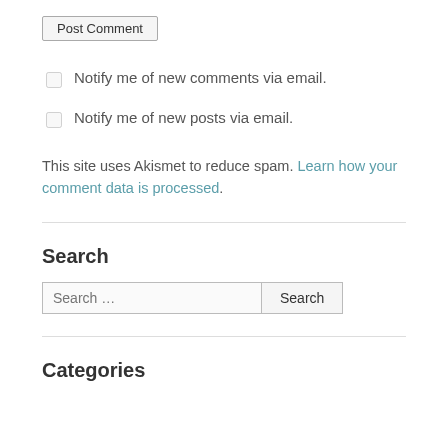Post Comment
Notify me of new comments via email.
Notify me of new posts via email.
This site uses Akismet to reduce spam. Learn how your comment data is processed.
Search
Search …
Categories